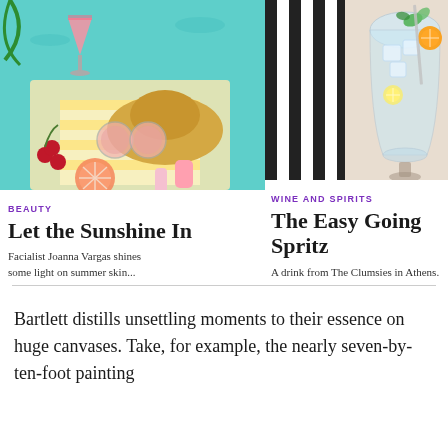[Figure (illustration): Colorful summer beach scene illustration with hat, sunglasses, grapefruit, cherries, cocktail drink, sunscreen, against a turquoise ocean background]
[Figure (photo): Photo of a cocktail/spritz drink in a large wine glass with ice and garnish, next to a black-and-white striped outfit]
BEAUTY
Let the Sunshine In
Facialist Joanna Vargas shines some light on summer skin...
WINE AND SPIRITS
The Easy Going Spritz
A drink from The Clumsies in Athens.
Bartlett distills unsettling moments to their essence on huge canvases. Take, for example, the nearly seven-by-ten-foot painting